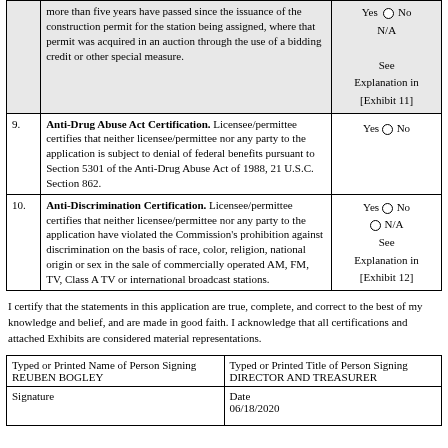| # | Description | Answer |
| --- | --- | --- |
|  | more than five years have passed since the issuance of the construction permit for the station being assigned, where that permit was acquired in an auction through the use of a bidding credit or other special measure. | Yes No N/A See Explanation in [Exhibit 11] |
| 9. | Anti-Drug Abuse Act Certification. Licensee/permittee certifies that neither licensee/permittee nor any party to the application is subject to denial of federal benefits pursuant to Section 5301 of the Anti-Drug Abuse Act of 1988, 21 U.S.C. Section 862. | Yes No |
| 10. | Anti-Discrimination Certification. Licensee/permittee certifies that neither licensee/permittee nor any party to the application have violated the Commission's prohibition against discrimination on the basis of race, color, religion, national origin or sex in the sale of commercially operated AM, FM, TV, Class A TV or international broadcast stations. | Yes No N/A See Explanation in [Exhibit 12] |
I certify that the statements in this application are true, complete, and correct to the best of my knowledge and belief, and are made in good faith. I acknowledge that all certifications and attached Exhibits are considered material representations.
| Typed or Printed Name of Person Signing | Typed or Printed Title of Person Signing |
| --- | --- |
| REUBEN BOGLEY | DIRECTOR AND TREASURER |
| Signature | Date
06/18/2020 |